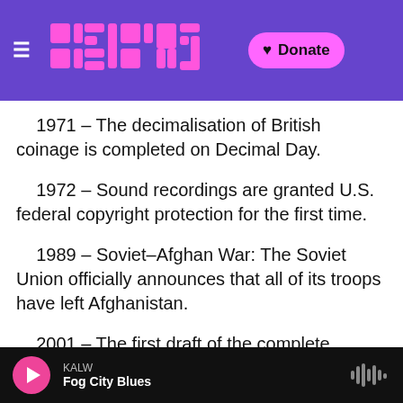KALW - Radiotopia header with logo and Donate button
1971 – The decimalisation of British coinage is completed on Decimal Day.
1972 – Sound recordings are granted U.S. federal copyright protection for the first time.
1989 – Soviet–Afghan War: The Soviet Union officially announces that all of its troops have left Afghanistan.
2001 – The first draft of the complete human genome is published in Nature.
2003 – Protests against the Iraq war take place
KALW · Fog City Blues (player bar)